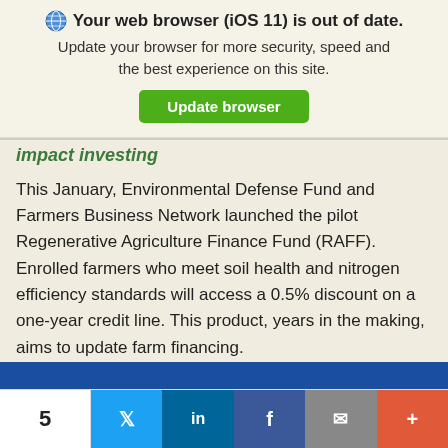[Figure (screenshot): Browser update warning banner with globe icon, bold text 'Your web browser (iOS 11) is out of date.', subtitle text, and a green 'Update browser' button]
Impact investing
This January, Environmental Defense Fund and Farmers Business Network launched the pilot Regenerative Agriculture Finance Fund (RAFF). Enrolled farmers who meet soil health and nitrogen efficiency standards will access a 0.5% discount on a one-year credit line. This product, years in the making, aims to update farm financing.
[Figure (screenshot): Social share bar with count '5', Twitter, LinkedIn, Facebook, email, and more buttons]